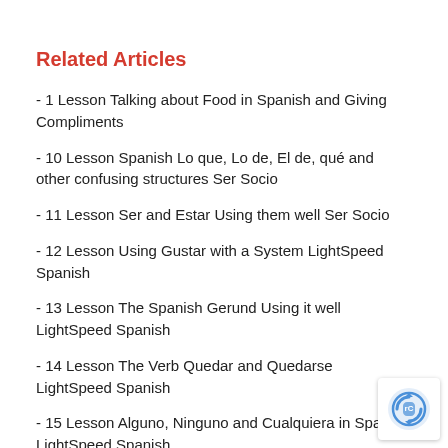Related Articles
- 1 Lesson Talking about Food in Spanish and Giving Compliments
- 10 Lesson Spanish Lo que, Lo de, El de, qué and other confusing structures Ser Socio
- 11 Lesson Ser and Estar Using them well Ser Socio
- 12 Lesson Using Gustar with a System LightSpeed Spanish
- 13 Lesson The Spanish Gerund Using it well LightSpeed Spanish
- 14 Lesson The Verb Quedar and Quedarse LightSpeed Spanish
- 15 Lesson Alguno, Ninguno and Cualquiera in Spanish LightSpeed Spanish
- 16 Lesson The Hidden Spanish LO LightSpeed Spani…